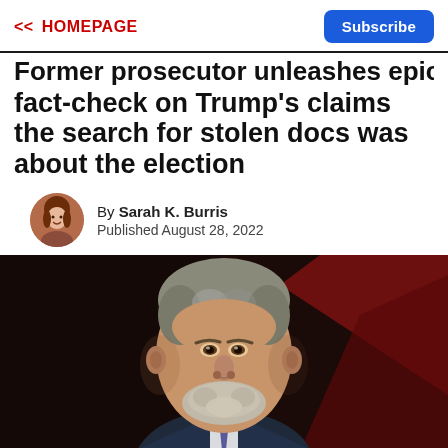<< HOMEPAGE | Subscribe
Former prosecutor unleashes epic fact-check on Trump's claims the search for stolen docs was about the election
By Sarah K. Burris
Published August 28, 2022
[Figure (photo): Headshot of a middle-aged man with grey-streaked hair and beard, wearing a dark suit, photographed against a dark reddish background]